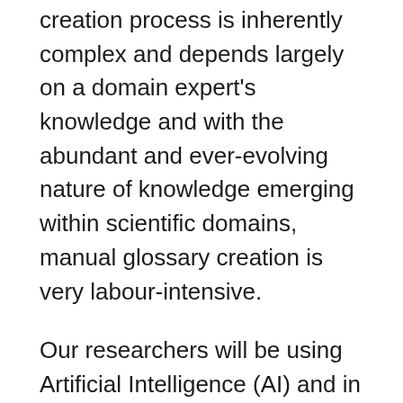creation process is inherently complex and depends largely on a domain expert's knowledge and with the abundant and ever-evolving nature of knowledge emerging within scientific domains, manual glossary creation is very labour-intensive.
Our researchers will be using Artificial Intelligence (AI) and in particular novel Natural Language Processing (NLP) techniques to automatically generate glossaries from a large corpus of scientific